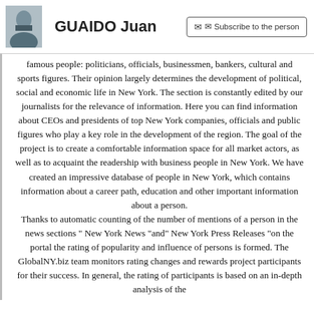GUAIDO Juan | Subscribe to the person
famous people: politicians, officials, businessmen, bankers, cultural and sports figures. Their opinion largely determines the development of political, social and economic life in New York. The section is constantly edited by our journalists for the relevance of information. Here you can find information about CEOs and presidents of top New York companies, officials and public figures who play a key role in the development of the region. The goal of the project is to create a comfortable information space for all market actors, as well as to acquaint the readership with business people in New York. We have created an impressive database of people in New York, which contains information about a career path, education and other important information about a person. Thanks to automatic counting of the number of mentions of a person in the news sections " New York News "and" New York Press Releases "on the portal the rating of popularity and influence of persons is formed. The GlobalNY.biz team monitors rating changes and rewards project participants for their success. In general, the rating of participants is based on an in-depth analysis of the